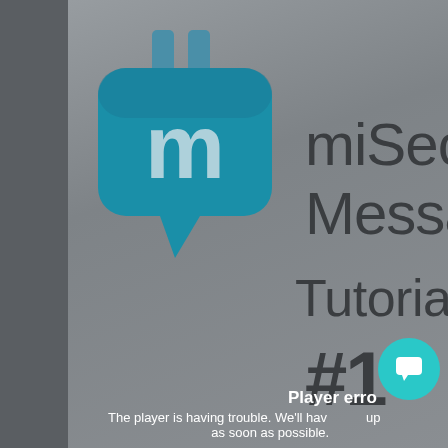[Figure (logo): miSecure Messenger app logo — a teal speech bubble with a plug/lock icon and letter m, partially cropped on the right side]
miSec Messa Tutorial #1
Player error
The player is having trouble. We'll hav... up as soon as possible.